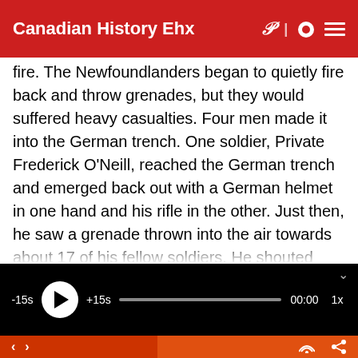Canadian History Ehx
fire. The Newfoundlanders began to quietly fire back and throw grenades, but they would suffered heavy casualties. Four men made it into the German trench. One soldier, Private Frederick O’Neill, reached the German trench and emerged back out with a German helmet in one hand and his rifle in the other. Just then, he saw a grenade thrown into the air towards about 17 of his fellow soldiers. He shouted “Look out boys
[Figure (screenshot): Audio player bar with -15s skip, play button, +15s skip, progress bar, 00:00 time display, and 1x speed button on black background]
Navigation bar with back/forward arrows and RSS and share icons